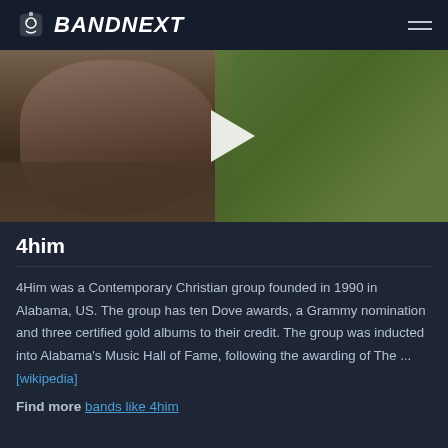BANDNEXT
[Figure (photo): Video thumbnail showing a woman singing or performing outdoors with foliage in the background, with a play button overlay in the center]
4him
4Him was a Contemporary Christian group founded in 1990 in Alabama, US. The group has ten Dove awards, a Grammy nomination and three certified gold albums to their credit. The group was inducted into Alabama's Music Hall of Fame, following the awarding of The ... [wikipedia]
Find more bands like 4him